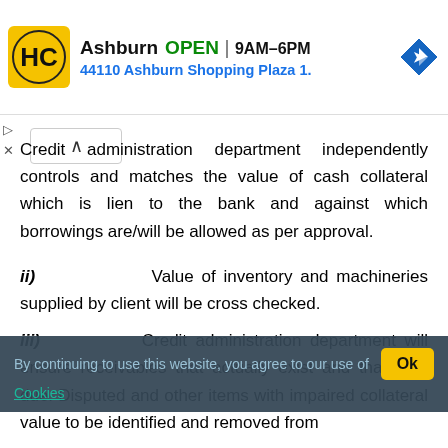[Figure (other): Advertisement banner for Ashburn HC store showing logo, OPEN status, hours 9AM-6PM, and address 44110 Ashburn Shopping Plaza 1., with navigation icon]
Credit administration department independently controls and matches the value of cash collateral which is lien to the bank and against which borrowings are/will be allowed as per approval.
ii) Value of inventory and machineries supplied by client will be cross checked.
iii) Credit administration department will ensure receivables that actually exist and that past due. Disputed and other items with impaired collateral value to be identified and removed from
By continuing to use this website, you agree to our use of Cookies